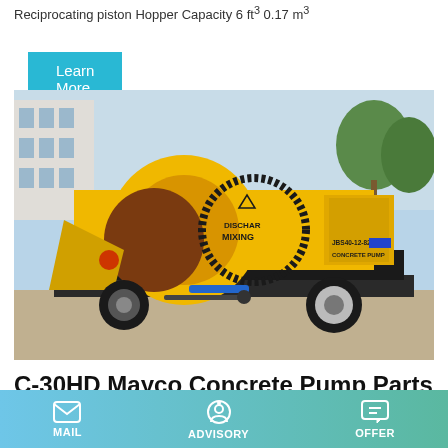Reciprocating piston Hopper Capacity 6 ft³ 0.17 m³
Learn More
[Figure (photo): Yellow JBS40-12-82R concrete pump with mixer drum labeled DISCHAR MIXING, mounted on a wheeled trailer, parked outdoors near a building.]
C-30HD Mayco Concrete Pump Parts By Multiquip
MAIL  ADVISORY  OFFER